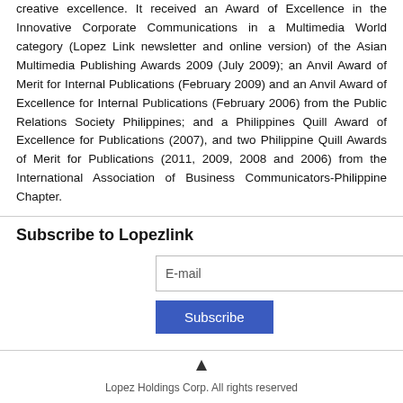creative excellence. It received an Award of Excellence in the Innovative Corporate Communications in a Multimedia World category (Lopez Link newsletter and online version) of the Asian Multimedia Publishing Awards 2009 (July 2009); an Anvil Award of Merit for Internal Publications (February 2009) and an Anvil Award of Excellence for Internal Publications (February 2006) from the Public Relations Society Philippines; and a Philippines Quill Award of Excellence for Publications (2007), and two Philippine Quill Awards of Merit for Publications (2011, 2009, 2008 and 2006) from the International Association of Business Communicators-Philippine Chapter.
Subscribe to Lopezlink
E-mail
Subscribe
Lopez Holdings Corp. All rights reserved
About Us | Copyright | Sitemap | Archive